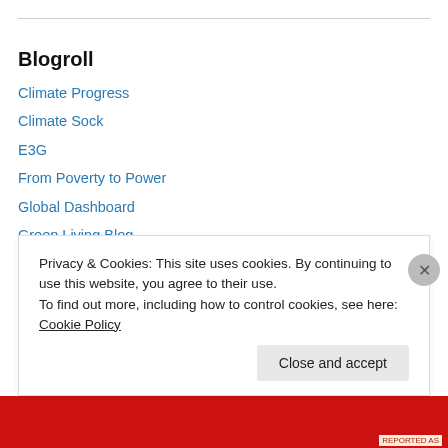Blogroll
Climate Progress
Climate Sock
E3G
From Poverty to Power
Global Dashboard
Green Living Blog
Identity Campaigning
IGov New Thinking
Left Foot Forward
Policy Network's Politics of Climate Change project
Privacy & Cookies: This site uses cookies. By continuing to use this website, you agree to their use.
To find out more, including how to control cookies, see here: Cookie Policy
Close and accept